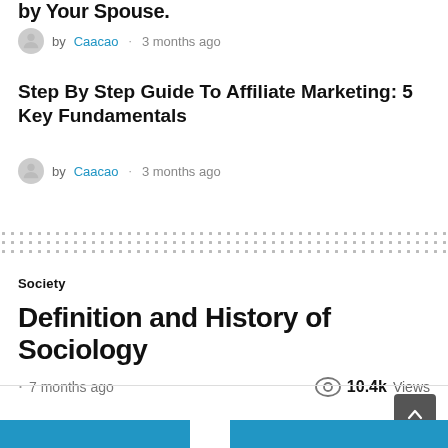by Your Spouse.
by Caacao · 3 months ago
Step By Step Guide To Affiliate Marketing: 5 Key Fundamentals
by Caacao · 3 months ago
Society
Definition and History of Sociology
· 7 months ago  10.4k Views